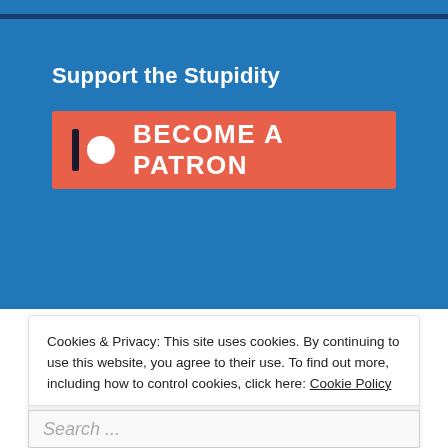Support the Stupidity
[Figure (logo): Patreon 'Become a Patron' button with Patreon logo (vertical bar and circle) on coral/red-orange background]
Cookies & Privacy: This site uses cookies. By continuing to use this website, you agree to their use. To find out more, including how to control cookies, click here: Cookie Policy
Accept & Close
Search ...